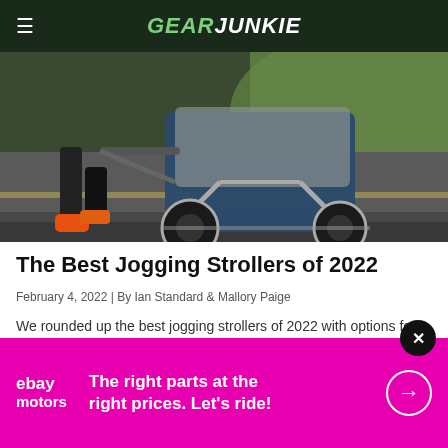GearJunkie
[Figure (photo): Person jogging on a path while pushing a blue jogging stroller, shot at leg level showing orange running shoes and the stroller wheels on pavement with green grass in background]
The Best Jogging Strollers of 2022
February 4, 2022 | By Ian Standard & Mallory Paige
We rounded up the best jogging strollers of 2022 with options for every parent and budget. Top picks include Thule, Joovy, and more!
[Figure (other): Advertisement banner: ebay motors - The right parts at the right prices. Let's ride!]